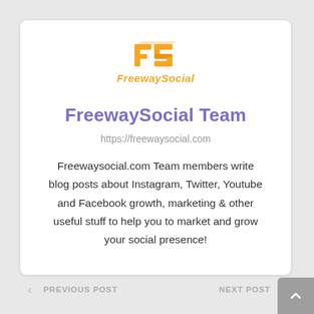[Figure (logo): FreewaySocial logo with orange 'FS' letters and orange text 'FreewaySocial' below]
FreewaySocial Team
https://freewaysocial.com
Freewaysocial.com Team members write blog posts about Instagram, Twitter, Youtube and Facebook growth, marketing & other useful stuff to help you to market and grow your social presence!
PREVIOUS POST   NEXT POST